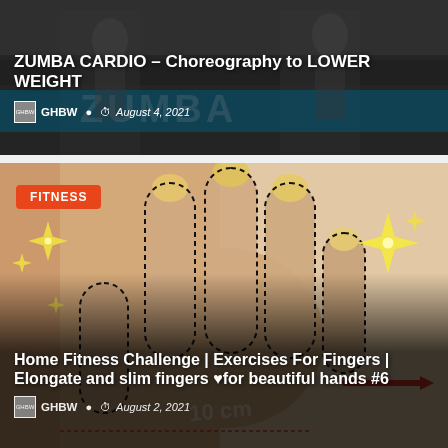[Figure (photo): Article card with dark background showing people on stairs. Title: ZUMBA CARDIO – Choreography to LOWER WEIGHT. Author: GHBW. Date: August 4, 2021.]
ZUMBA CARDIO – Choreography to LOWER WEIGHT
GHBW  August 4, 2021
[Figure (photo): Article card showing a hand with dashed outlines around fingers against a light background. Sparkle star decorations around the hand. FITNESS badge in red/orange top left. Title: Home Fitness Challenge | Exercises For Fingers | Elongate and slim fingers ♥for beautiful hands #6. Author: GHBW. Date: August 2, 2021.]
FITNESS
Home Fitness Challenge | Exercises For Fingers | Elongate and slim fingers ♥for beautiful hands #6
GHBW  August 2, 2021